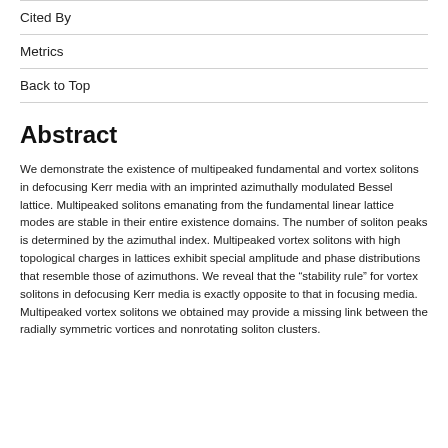Cited By
Metrics
Back to Top
Abstract
We demonstrate the existence of multipeaked fundamental and vortex solitons in defocusing Kerr media with an imprinted azimuthally modulated Bessel lattice. Multipeaked solitons emanating from the fundamental linear lattice modes are stable in their entire existence domains. The number of soliton peaks is determined by the azimuthal index. Multipeaked vortex solitons with high topological charges in lattices exhibit special amplitude and phase distributions that resemble those of azimuthons. We reveal that the “stability rule” for vortex solitons in defocusing Kerr media is exactly opposite to that in focusing media. Multipeaked vortex solitons we obtained may provide a missing link between the radially symmetric vortices and nonrotating soliton clusters.